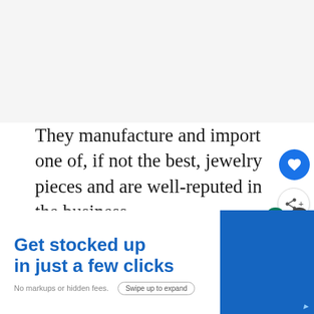[Figure (other): Gray blank area at top of page (image placeholder)]
They manufacture and import one of, if not the best, jewelry pieces and are well-reputed in the business.
Check out their website: Sonara Jewelry: Wholesale Diamond, Gemstone, & Sterling
[Figure (other): Advertisement overlay: 'Get stocked up in just a few clicks. No markups or hidden fees. Swipe up to expand.']